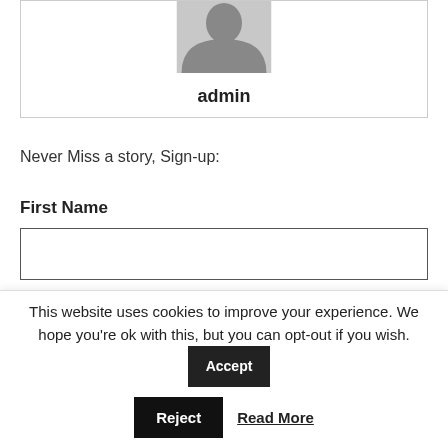[Figure (illustration): Gray placeholder avatar image showing a silhouette of a person]
admin
Never Miss a story, Sign-up:
First Name
Last Name
This website uses cookies to improve your experience. We hope you're ok with this, but you can opt-out if you wish.
Accept
Reject
Read More